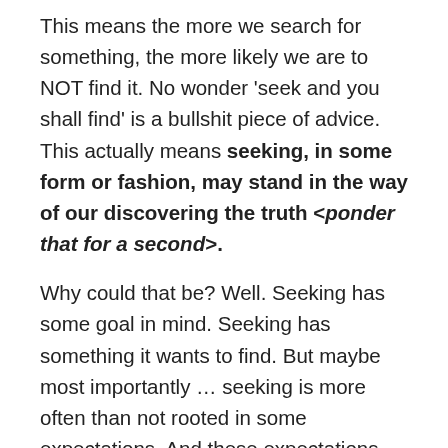This means the more we search for something, the more likely we are to NOT find it. No wonder 'seek and you shall find' is a bullshit piece of advice. This actually means seeking, in some form or fashion, may stand in the way of our discovering the truth <ponder that for a second>.
Why could that be? Well. Seeking has some goal in mind. Seeking has something it wants to find. But maybe most importantly … seeking is more often than not rooted in some expectations. And these expectations create some